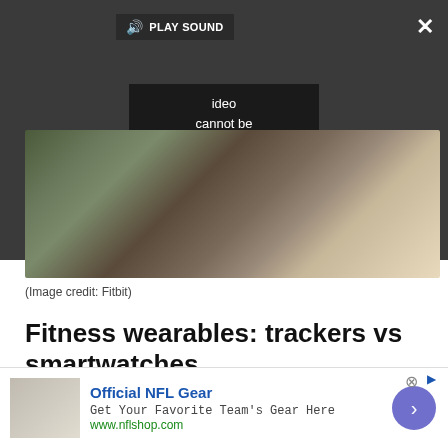[Figure (screenshot): Video player overlay on dark gray background showing a black error box with text: PLAY SOUND, Video cannot be played in this browser. (Error Cod — with a close X button top right and expand arrows bottom right]
[Figure (photo): Partial photo of a person wearing athletic/fitness clothing, blurred outdoor background with green foliage and light bokeh]
(Image credit: Fitbit)
Fitness wearables: trackers vs smartwatches
If you want to know what's coming next to fitness
[Figure (screenshot): Advertisement banner for Official NFL Gear — Get Your Favorite Team's Gear Here — www.nflshop.com, with a purple circular arrow button on the right]